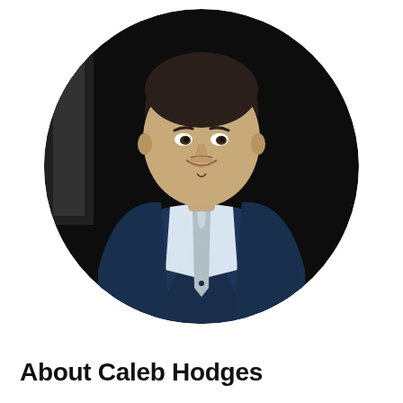[Figure (photo): Circular cropped portrait photo of a young man in a dark navy suit with a light blue/grey tie and white dress shirt, smiling slightly, looking to his right. Dark background. Small goatee/chin hair visible.]
About Caleb Hodges